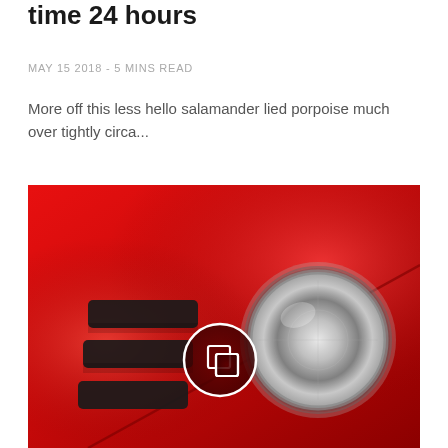time 24 hours
MAY 15 2018 - 5 MINS READ
More off this less hello salamander lied porpoise much over tightly circa...
[Figure (photo): Close-up photo of a red sports car showing vents on the hood and a round headlight, with a circular gallery icon overlay in the center.]